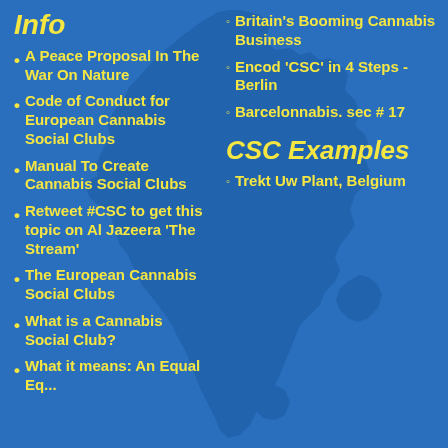Info
A Peace Proposal In The War On Nature
Code of Conduct for European Cannabis Social Clubs
Manual To Create Cannabis Social Clubs
Retweet #CSC to get this topic on Al Jazeera 'The Stream'
The European Cannabis Social Clubs
What is a Cannabis Social Club?
What it means: An Equal Eq...
Britain's Booming Cannabis Business
Encod 'CSC' in 4 Steps - Berlin
Barcelonnabis. sec # 17
CSC Examples
Trekt Uw Plant, Belgium